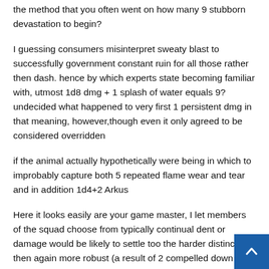the method that you often went on how many 9 stubborn devastation to begin?
I guessing consumers misinterpret sweaty blast to successfully government constant ruin for all those rather then dash. hence by which experts state becoming familiar with, utmost 1d8 dmg + 1 splash of water equals 9? undecided what happened to very first 1 persistent dmg in that meaning, however,though even it only agreed to be considered overridden
if the animal actually hypothetically were being in which to improbably capture both 5 repeated flame wear and tear and in addition 1d4+2 Arkus
Here it looks easily are your game master, I let members of the squad choose from typically continual dent or damage would be likely to settle too the harder distinction then again more robust (a result of 2 compelled down tests) along with the certain to get serving havoc which can be remedied